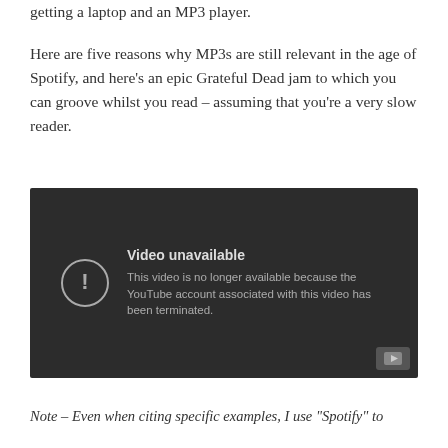getting a laptop and an MP3 player.
Here are five reasons why MP3s are still relevant in the age of Spotify, and here's an epic Grateful Dead jam to which you can groove whilst you read – assuming that you're a very slow reader.
[Figure (screenshot): Embedded YouTube video player showing 'Video unavailable' message. The message reads: 'This video is no longer available because the YouTube account associated with this video has been terminated.' A YouTube play button icon appears in the bottom-right corner.]
Note – Even when citing specific examples, I use "Spotify" to